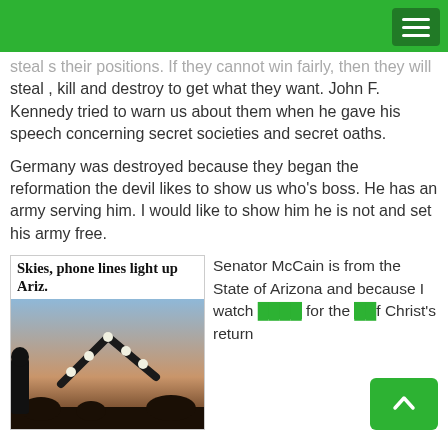[Green navigation bar with hamburger menu]
steal , kill and destroy to get what they want.  John F. Kennedy tried to warn us about them when he gave his speech concerning secret societies and secret oaths.
Germany was destroyed because they began the reformation the devil likes to show us who’s boss. He has an army serving him. I would like to show him he is not and set his army free.
[Figure (photo): Newspaper clipping with headline 'Skies, phone lines light up Ariz.' and photo of V-shaped UFO lights in the sky at dusk]
Senator McCain is from the State of Arizona and because I watch out for the return of Christ’s return